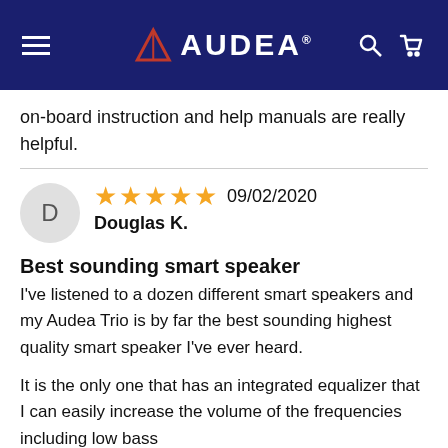AUDEA
on-board instruction and help manuals are really helpful.
★★★★★ 09/02/2020
Douglas K.

Best sounding smart speaker
I've listened to a dozen different smart speakers and my Audea Trio is by far the best sounding highest quality smart speaker I've ever heard.

It is the only one that has an integrated equalizer that I can easily increase the volume of the frequencies including low bass